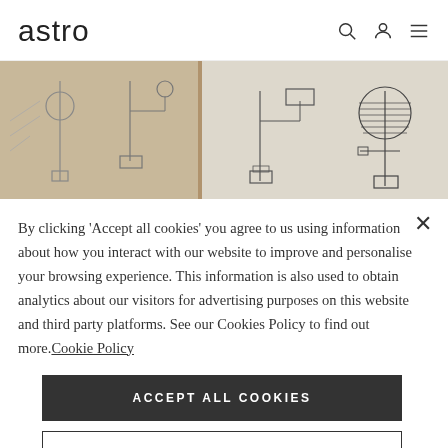astro
[Figure (illustration): Pencil sketches and design drawings of lamp/lighting fixtures with globe and geometric forms, shown in two panels side by side on a beige/tan background.]
By clicking ‘Accept all cookies’ you agree to us using information about how you interact with our website to improve and personalise your browsing experience. This information is also used to obtain analytics about our visitors for advertising purposes on this website and third party platforms. See our Cookies Policy to find out more. Cookie Policy
ACCEPT ALL COOKIES
COOKIES SETTINGS